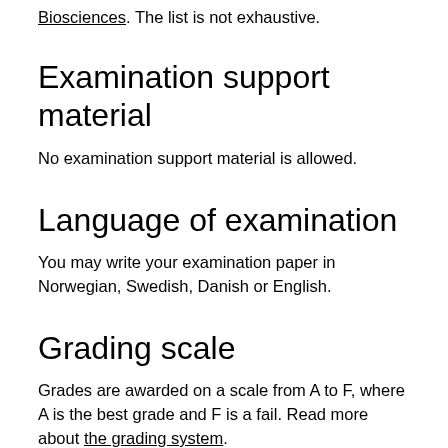Biosciences. The list is not exhaustive.
Examination support material
No examination support material is allowed.
Language of examination
You may write your examination paper in Norwegian, Swedish, Danish or English.
Grading scale
Grades are awarded on a scale from A to F, where A is the best grade and F is a fail. Read more about the grading system.